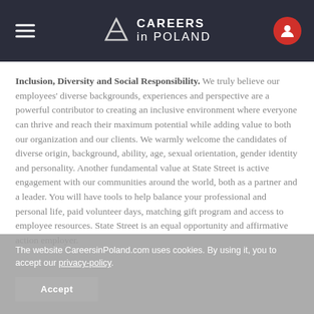CAREERS in POLAND
Inclusion, Diversity and Social Responsibility. We truly believe our employees' diverse backgrounds, experiences and perspective are a powerful contributor to creating an inclusive environment where everyone can thrive and reach their maximum potential while adding value to both our organization and our clients. We warmly welcome the candidates of diverse origin, background, ability, age, sexual orientation, gender identity and personality. Another fundamental value at State Street is active engagement with our communities around the world, both as a partner and a leader. You will have tools to help balance your professional and personal life, paid volunteer days, matching gift program and access to employee resources. State Street is an equal opportunity and affirmative action employer.
The website CareersinPoland.com uses cookies. By using it, you to accept our privacy-policy.
Accept